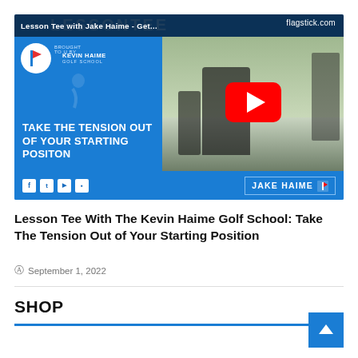[Figure (screenshot): YouTube video thumbnail for 'Lesson Tee with Jake Haime - Get...' showing a golf instructor at a driving range with text 'TAKE THE TENSION OUT OF YOUR STARTING POSITON', Kevin Haime Golf School branding, flagstick.com logo, and a YouTube play button overlay. Bottom bar shows social media icons and JAKE HAIME badge.]
Lesson Tee With The Kevin Haime Golf School: Take The Tension Out of Your Starting Position
September 1, 2022
SHOP